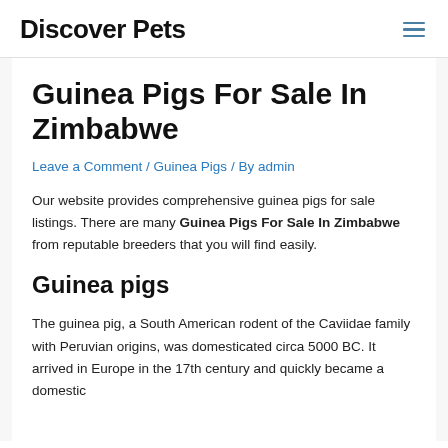Discover Pets
Guinea Pigs For Sale In Zimbabwe
Leave a Comment / Guinea Pigs / By admin
Our website provides comprehensive guinea pigs for sale listings. There are many Guinea Pigs For Sale In Zimbabwe from reputable breeders that you will find easily.
Guinea pigs
The guinea pig, a South American rodent of the Caviidae family with Peruvian origins, was domesticated circa 5000 BC. It arrived in Europe in the 17th century and quickly became a domestic